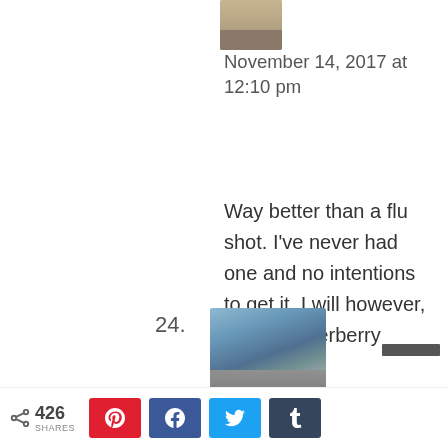[Figure (photo): Small avatar thumbnail of a person at the top, partially cropped]
November 14, 2017 at 12:10 pm
Way better than a flu shot. I've never had one and no intentions to get it. I will however, try this Elderberry Syrup.
Reply
24.
[Figure (photo): Avatar thumbnail of a person standing on a rocky mountain landscape]
< 426 SHARES  [Pinterest] [Facebook] [Twitter] [Tumblr]